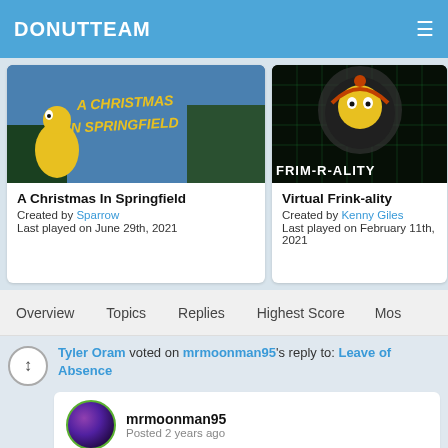DONUTTEAM
[Figure (screenshot): A Christmas In Springfield game card with Simpsons Christmas themed image]
A Christmas In Springfield
Created by Sparrow
Last played on June 29th, 2021
[Figure (screenshot): Virtual Frink-ality game card with sci-fi Simpsons themed image]
Virtual Frink-ality
Created by Kenny Giles
Last played on February 11th, 2021
Overview   Topics   Replies   Highest Score   Mos
Tyler Oram voted on mrmoonman95's reply to: Leave of Absence
mrmoonman95
Posted 2 years ago
rip jake
1 like